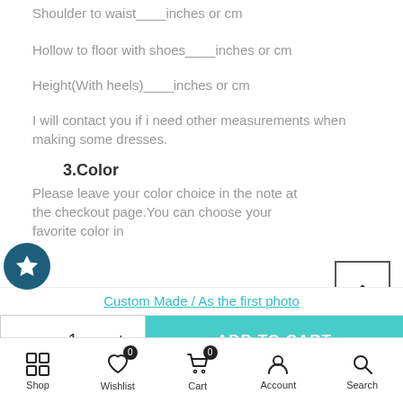Shoulder to waist____inches or cm
Hollow to floor with shoes____inches or cm
Height(With heels)____inches or cm
I will contact you if i need other measurements when making some dresses.
3.Color
Please leave your color choice in the note at the checkout page.You can choose your favorite color in
Custom Made / As the first photo
- 1 + ADD TO CART
Shop  Wishlist  Cart  Account  Search